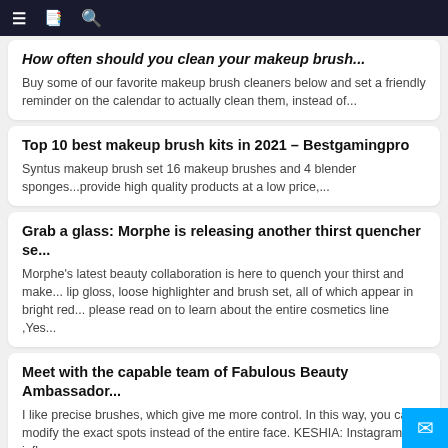☰  📋  🔍
How often should you clean your makeup brush...
Buy some of our favorite makeup brush cleaners below and set a friendly reminder on the calendar to actually clean them, instead of...
Top 10 best makeup brush kits in 2021 – Bestgamingpro
Syntus makeup brush set 16 makeup brushes and 4 blender sponges...provide high quality products at a low price,...
Grab a glass: Morphe is releasing another thirst quencher se...
Morphe's latest beauty collaboration is here to quench your thirst and make... lip gloss, loose highlighter and brush set, all of which appear in bright red... please read on to learn about the entire cosmetics line ,Yes...
Meet with the capable team of Fabulous Beauty Ambassador...
I like precise brushes, which give me more control. In this way, you can modify the exact spots instead of the entire face. KESHIA: Instagram influencer.
Internet celebrity Carli Bybel and Il Makiage have establisbe...
At the time, Bybel was 20 years old and was busy doing makeup... collection is inspired by make-up-the full set is priced at $149. ...Ic